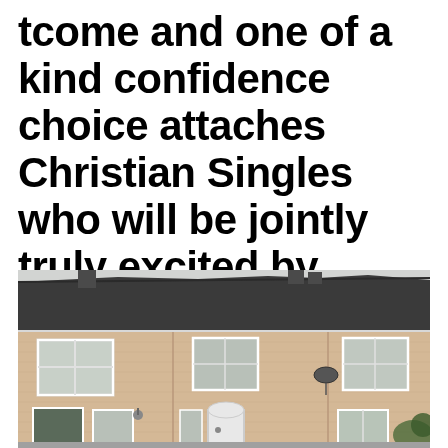tcome and one of a kind confidence choice attaches Christian Singles who will be jointly truly excited by pleasing
[Figure (photo): Photograph of a row of terraced brick houses with a dark tiled roof, white-framed windows, and a light beige brick facade. The houses appear to be typical British terraced homes viewed from the street.]